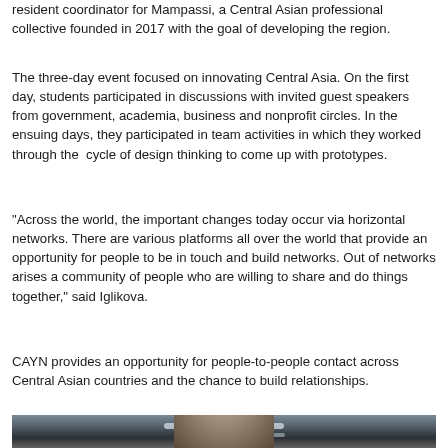resident coordinator for Mampassi, a Central Asian professional collective founded in 2017 with the goal of developing the region.
The three-day event focused on innovating Central Asia. On the first day, students participated in discussions with invited guest speakers from government, academia, business and nonprofit circles. In the ensuing days, they participated in team activities in which they worked through the cycle of design thinking to come up with prototypes.
“Across the world, the important changes today occur via horizontal networks. There are various platforms all over the world that provide an opportunity for people to be in touch and build networks. Out of networks arises a community of people who are willing to share and do things together,” said Iglikova.
CAYN provides an opportunity for people-to-people contact across Central Asian countries and the chance to build relationships.
[Figure (photo): A person photographed from below/medium shot in an indoor setting with ceiling lights visible in the background]